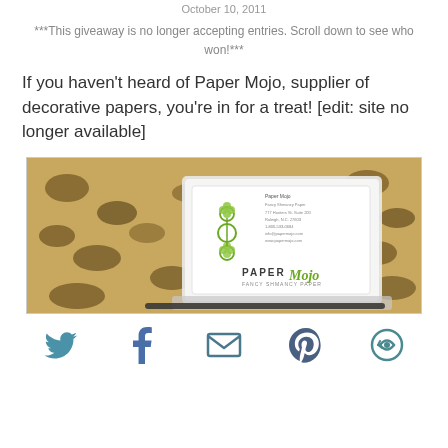October 10, 2011
***This giveaway is no longer accepting entries. Scroll down to see who won!***
If you haven't heard of Paper Mojo, supplier of decorative papers, you're in for a treat! [edit: site no longer available]
[Figure (photo): Photo of a Paper Mojo business card in an acrylic card holder, placed on a gold/brown snakeskin-textured surface. The business card shows green floral/clover designs and the Paper Mojo logo.]
[Figure (infographic): Social sharing icons row: Twitter bird, Facebook f, email envelope, Pinterest p, and a share/refresh icon, all in teal/dark teal color.]